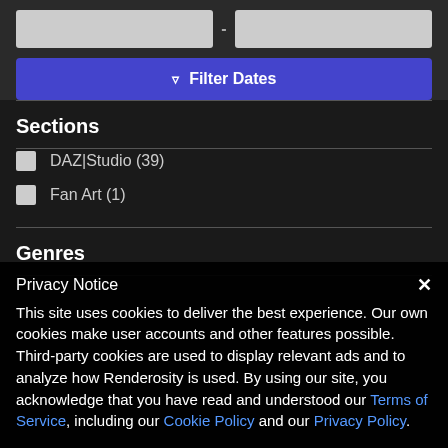[Figure (screenshot): Date range input fields (two gray text boxes with a dash separator)]
[Figure (screenshot): Blue 'Filter Dates' button with funnel icon]
Sections
DAZ|Studio (39)
Fan Art (1)
Genres
Privacy Notice
This site uses cookies to deliver the best experience. Our own cookies make user accounts and other features possible. Third-party cookies are used to display relevant ads and to analyze how Renderosity is used. By using our site, you acknowledge that you have read and understood our Terms of Service, including our Cookie Policy and our Privacy Policy.